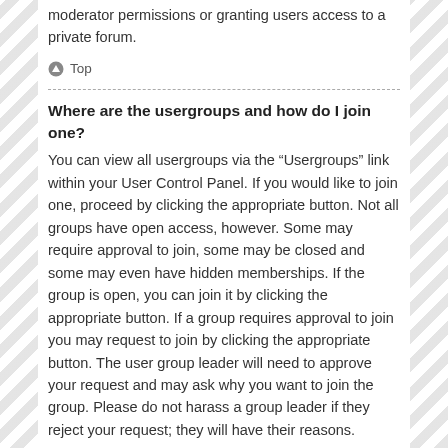moderator permissions or granting users access to a private forum.
⬆ Top
Where are the usergroups and how do I join one?
You can view all usergroups via the “Usergroups” link within your User Control Panel. If you would like to join one, proceed by clicking the appropriate button. Not all groups have open access, however. Some may require approval to join, some may be closed and some may even have hidden memberships. If the group is open, you can join it by clicking the appropriate button. If a group requires approval to join you may request to join by clicking the appropriate button. The user group leader will need to approve your request and may ask why you want to join the group. Please do not harass a group leader if they reject your request; they will have their reasons.
⬆ Top
How do I become a usergroup leader?
A usergroup leader is usually assigned when usergroups